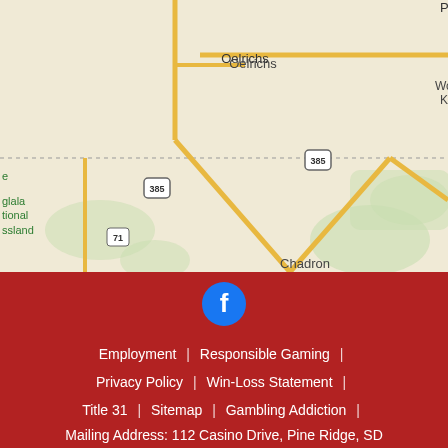[Figure (map): Google Maps view showing Pine Ridge area in South Dakota/Nebraska region with roads including US-18, US-385, SD-71, and cities including Oglala, Oelrichs, Pine Ridge, Whiteclay, Chadron. Oglala National Grassland labeled on left.]
[Figure (logo): Facebook icon: circular dark blue button with white 'f' letter]
Employment | Responsible Gaming | Privacy Policy | Win-Loss Statement | Title 31 | Sitemap | Gambling Addiction |
Mailing Address: 112 Casino Drive, Pine Ridge, SD 57770